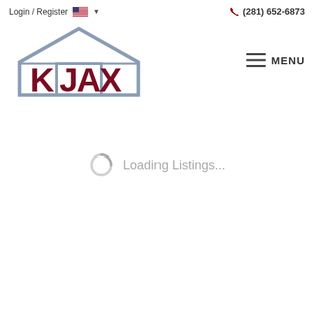Login / Register   🇺🇸 ▾   (281) 652-6873
[Figure (logo): KJAX Group real estate logo — stylized house outline in grey with dark red K letters inside, 'JAX' in dark red block letters, 'GROUP' spaced below in grey]
MENU
Loading Listings...